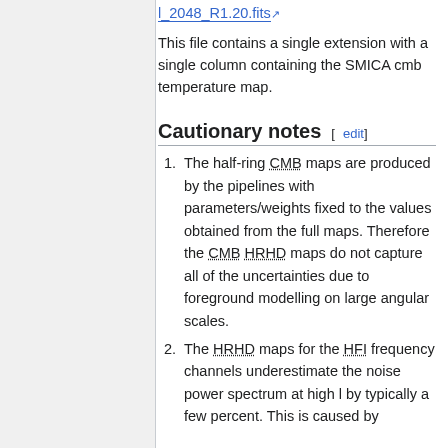l_2048_R1.20.fits
This file contains a single extension with a single column containing the SMICA cmb temperature map.
Cautionary notes [edit]
The half-ring CMB maps are produced by the pipelines with parameters/weights fixed to the values obtained from the full maps. Therefore the CMB HRHD maps do not capture all of the uncertainties due to foreground modelling on large angular scales.
The HRHD maps for the HFI frequency channels underestimate the noise power spectrum at high l by typically a few percent. This is caused by